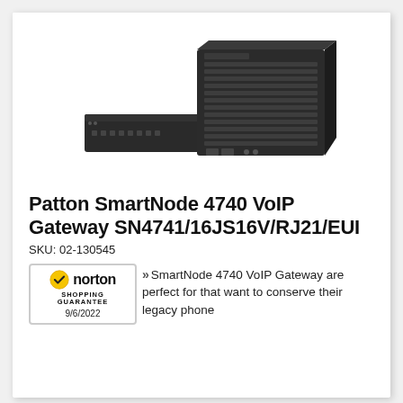[Figure (photo): Two dark gray/black Patton SmartNode 4740 VoIP Gateway hardware units — one flat rack-mount unit in the foreground and one taller desktop/tower unit behind it, both with ventilation grilles]
Patton SmartNode 4740 VoIP Gateway SN4741/16JS16V/RJ21/EUI
SKU: 02-130545
[Figure (logo): Norton Shopping Guarantee badge with checkmark logo, text 'norton' and 'SHOPPING GUARANTEE' and date '9/6/2022']
»SmartNode 4740 VoIP Gateway are perfect for that want to conserve their legacy phone